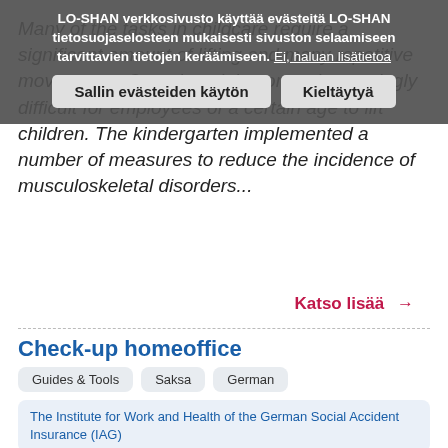LO-SHAN verkkosivusto käyttää evästeitä LO-SHAN tietosuojaselosteen mukaisesti sivuston selaamiseen tarvittavien tietojen keräämiseen. Ei, haluan lisätietoa
Sallin evästeiden käytön   Kieltäytyä
Many of the tasks in childcare require a significant amount of lifting and many repetitive movements. Over time, it becomes increasingly difficult for employees of a certain age to lift children. The kindergarten implemented a number of measures to reduce the incidence of musculoskeletal disorders...
Katso lisää →
Check-up homeoffice
Guides & Tools
Saksa
German
The Institute for Work and Health of the German Social Accident Insurance (IAG)
Working from home becomes increasingly popular. This checklist provided by the German the Institute